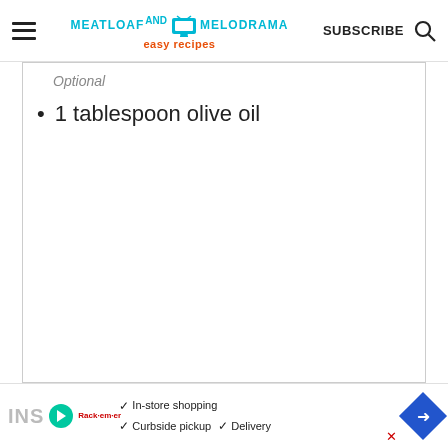MEATLOAF AND MELODRAMA easy recipes | SUBSCRIBE
Optional
1 tablespoon olive oil
[Figure (screenshot): Advertisement bar with In-Store shopping, Curbside pickup, Delivery options and a blue diamond navigation icon]